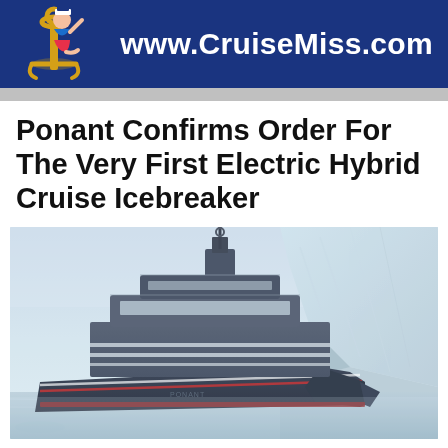www.CruiseMiss.com
Ponant Confirms Order For The Very First Electric Hybrid Cruise Icebreaker
[Figure (photo): A large modern dark-hulled electric hybrid cruise icebreaker ship sailing through icy arctic waters with a glacier cliff in the background under a hazy sky.]